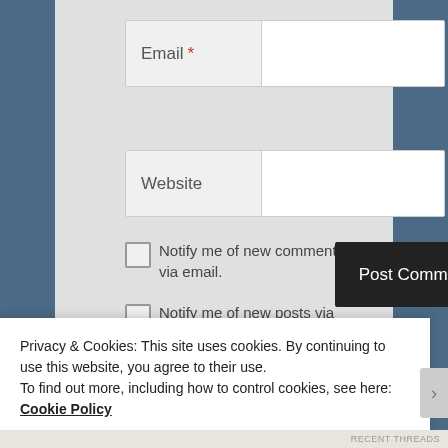[Figure (screenshot): Web form screenshot showing Email field with red asterisk required marker, Website field, two checkbox options for email notifications, a black Post Comment button, and a cookie consent banner at the bottom with a Close and accept button.]
Email *
Website
Notify me of new comments via email.
Notify me of new posts via email.
Post Comment
Privacy & Cookies: This site uses cookies. By continuing to use this website, you agree to their use.
To find out more, including how to control cookies, see here: Cookie Policy
Close and accept